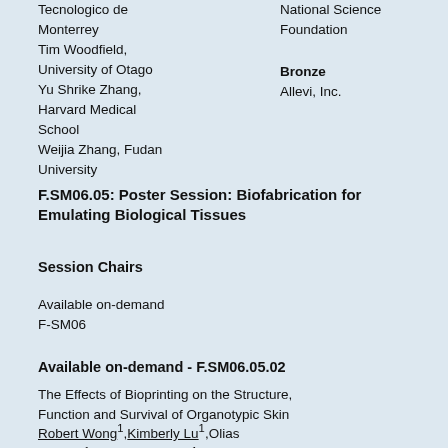Tecnologico de Monterrey
Tim Woodfield, University of Otago
Yu Shrike Zhang, Harvard Medical School
Weijia Zhang, Fudan University
National Science Foundation
Bronze
Allevi, Inc.
F.SM06.05: Poster Session: Biofabrication for Emulating Biological Tissues
Session Chairs
Available on-demand
F-SM06
Available on-demand - F.SM06.05.02
The Effects of Bioprinting on the Structure, Function and Survival of Organotypic Skin
Robert Wong¹,Kimberly Lu¹,Olias Christie¹,Michael Cottone¹,Philip